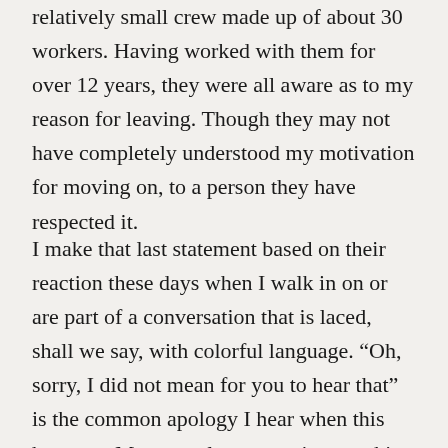relatively small crew made up of about 30 workers. Having worked with them for over 12 years, they were all aware as to my reason for leaving. Though they may not have completely understood my motivation for moving on, to a person they have respected it.
I make that last statement based on their reaction these days when I walk in on or are part of a conversation that is laced, shall we say, with colorful language. “Oh, sorry, I did not mean for you to hear that” is the common apology I hear when this happens. My normal response is something like, “That’s ok, I have heard all those words before.”